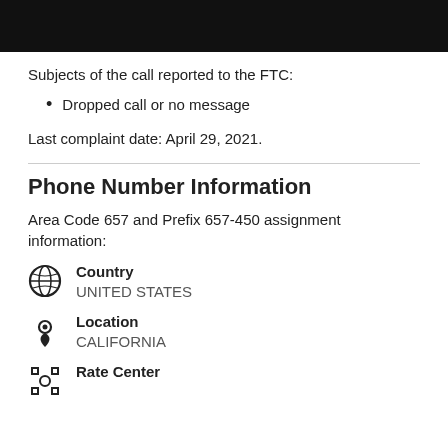[Figure (photo): Dark/black image bar at top of page]
Subjects of the call reported to the FTC:
Dropped call or no message
Last complaint date: April 29, 2021.
Phone Number Information
Area Code 657 and Prefix 657-450 assignment information:
Country
UNITED STATES
Location
CALIFORNIA
Rate Center